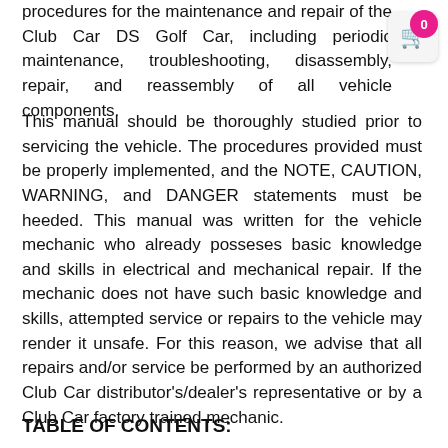procedures for the maintenance and repair of the Club Car DS Golf Car, including periodic maintenance, troubleshooting, disassembly, repair, and reassembly of all vehicle components.
This manual should be thoroughly studied prior to servicing the vehicle. The procedures provided must be properly implemented, and the NOTE, CAUTION, WARNING, and DANGER statements must be heeded. This manual was written for the vehicle mechanic who already posseses basic knowledge and skills in electrical and mechanical repair. If the mechanic does not have such basic knowledge and skills, attempted service or repairs to the vehicle may render it unsafe. For this reason, we advise that all repairs and/or service be performed by an authorized Club Car distributor's/dealer's representative or by a Club Car factory trained mechanic.
TABLE OF CONTENTS: